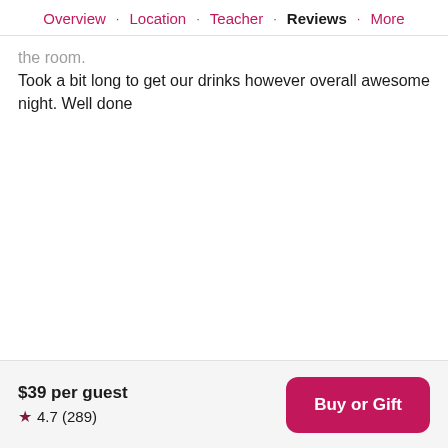Overview · Location · Teacher · Reviews · More
the room.
Took a bit long to get our drinks however overall awesome night. Well done
$39 per guest
★ 4.7 (289)
Buy or Gift